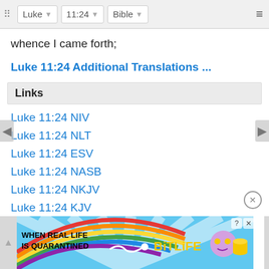Luke | 11:24 | Bible
whence I came forth;
Luke 11:24 Additional Translations ...
Links
Luke 11:24 NIV
Luke 11:24 NLT
Luke 11:24 ESV
Luke 11:24 NASB
Luke 11:24 NKJV
Luke 11:24 KJV
[Figure (screenshot): BitLife advertisement banner: 'WHEN REAL LIFE IS QUARANTINED' with BitLife logo and emoji characters]